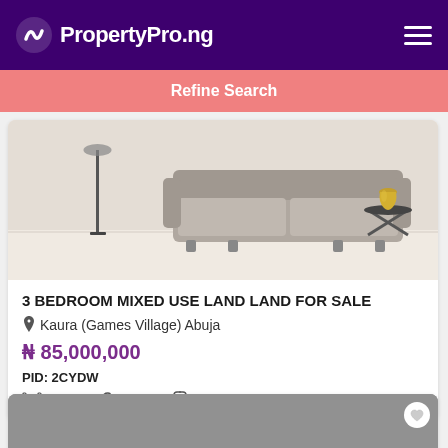PropertyPro.ng
Refine Search
[Figure (illustration): Interior room illustration showing a grey sofa, floor lamp, and side table with a vase on a light background]
3 BEDROOM MIXED USE LAND LAND FOR SALE
Kaura (Games Village) Abuja
₦ 85,000,000
PID: 2CYDW
3 beds   baths   Toilets
[Figure (photo): Partial view of a second property listing photo (grey/dark image, partially visible at bottom of page)]